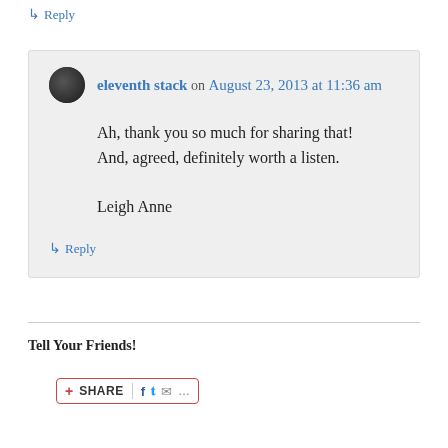↳ Reply
eleventh stack on August 23, 2013 at 11:36 am
Ah, thank you so much for sharing that! And, agreed, definitely worth a listen.

Leigh Anne
↳ Reply
Tell Your Friends!
[Figure (other): Share bar with plus icon, SHARE text, Facebook, Twitter, email icons and ellipsis]